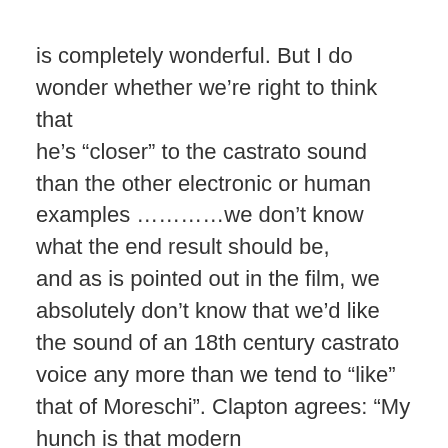is completely wonderful. But I do wonder whether we're right to think that he's “closer” to the castrato sound than the other electronic or human examples …………we don’t know what the end result should be, and as is pointed out in the film, we absolutely don’t know that we’d like the sound of an 18th century castrato voice any more than we tend to “like” that of Moreschi”. Clapton agrees: “My hunch is that modern listeners would find the voice, manner and whole performance of a castrato like Farinelli extremely strange, indeed alien, much like we would find the conversation of Handel, Johnson, or George II extremely peculiar